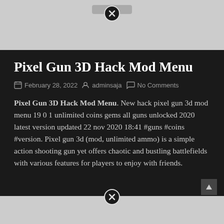[Figure (other): Advertisement banner at top with close/dismiss button (X in circle)]
Pixel Gun 3D Hack Mod Menu
February 28, 2022  adminsaja  No Comments
Pixel Gun 3D Hack Mod Menu. New hack pixel gun 3d mod menu 19 0 1 unlimited coins gems all guns unlocked 2020 latest version updated 22 nov 2020 18:41 #guns #coins #version. Pixel gun 3d (mod, unlimited ammo) is a simple action shooting gun yet offers chaotic and bustling battlefields with various features for players to enjoy with friends.
[Figure (other): Advertisement banner at bottom with close/dismiss button (X in circle)]